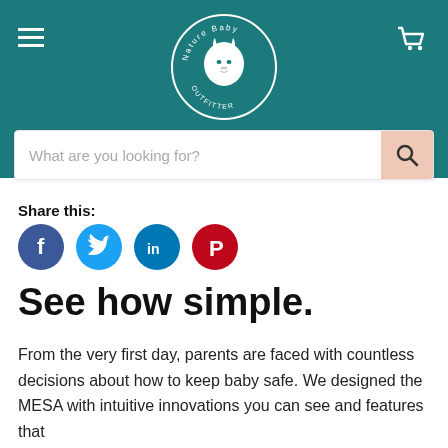[Figure (logo): Nature Baby Outfitter circular logo with a goat illustration, white on teal background]
What are you looking for?
Share this:
[Figure (illustration): Social media share icons: Facebook (blue circle with f), Twitter (blue circle with bird), LinkedIn (blue circle with in), Pinterest (red circle with P)]
See how simple.
From the very first day, parents are faced with countless decisions about how to keep baby safe. We designed the MESA with intuitive innovations you can see and features that you can clearly see and SMARTS on features that